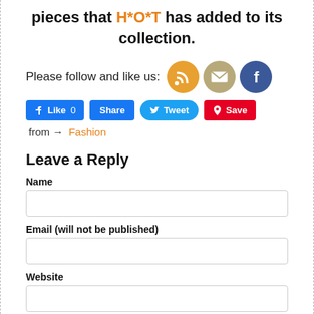pieces that H*O*T has added to its collection.
[Figure (infographic): Social media follow and like buttons: RSS feed icon (orange circle), email icon (tan circle), Facebook icon (blue circle), Facebook Like button, Share button, Tweet button, Pinterest Save button, and 'from → Fashion' link.]
Leave a Reply
Name
Email (will not be published)
Website
Comment